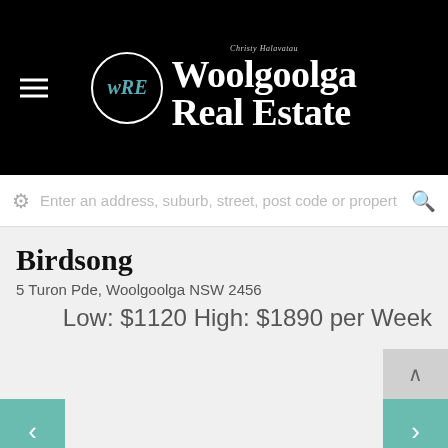[Figure (logo): Woolgoolga Real Estate logo with WRE monogram in circle on black header background]
Enter an address, suburb, street, post code or propert
Birdsong
5 Turon Pde, Woolgoolga NSW 2456
Low: $1120 High: $1890 per Week
FOR RENT, HOLIDAY